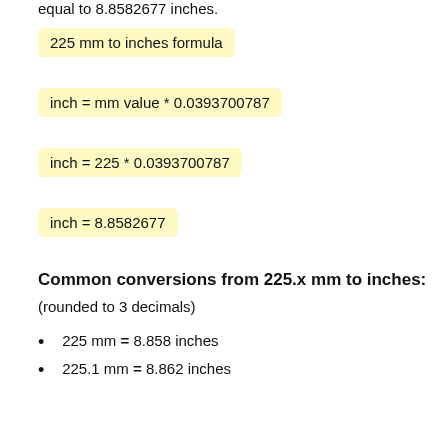equal to 8.8582677 inches.
Common conversions from 225.x mm to inches:
(rounded to 3 decimals)
225 mm = 8.858 inches
225.1 mm = 8.862 inches